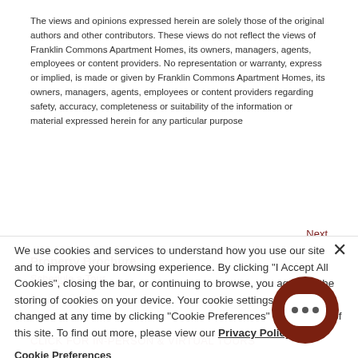The views and opinions expressed herein are solely those of the original authors and other contributors. These views do not reflect the views of Franklin Commons Apartment Homes, its owners, managers, agents, employees or content providers. No representation or warranty, express or implied, is made or given by Franklin Commons Apartment Homes, its owners, managers, agents, employees or content providers regarding safety, accuracy, completeness or suitability of the information or material expressed herein for any particular purpose
Next
We use cookies and services to understand how you use our site and to improve your browsing experience. By clicking "I Accept All Cookies", closing the bar, or continuing to browse, you agree to the storing of cookies on your device. Your cookie settings can be changed at any time by clicking "Cookie Preferences" in the footer of this site. To find out more, please view our Privacy Policy
Cookie Preferences
I Accept All Cookies